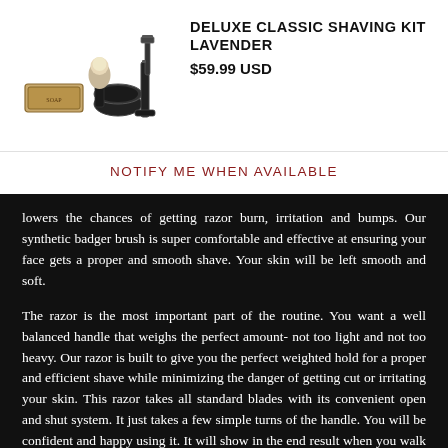[Figure (illustration): Product photo of a deluxe classic shaving kit including a shaving brush, safety razor, mug, and stand on a white background]
DELUXE CLASSIC SHAVING KIT LAVENDER
$59.99 USD
NOTIFY ME WHEN AVAILABLE
lowers the chances of getting razor burn, irritation and bumps. Our synthetic badger brush is super comfortable and effective at ensuring your face gets a proper and smooth shave. Your skin will be left smooth and soft.
The razor is the most important part of the routine. You want a well balanced handle that weighs the perfect amount- not too light and not too heavy. Our razor is built to give you the perfect weighted hold for a proper and efficient shave while minimizing the danger of getting cut or irritating your skin. This razor takes all standard blades with its convenient open and shut system. It just takes a few simple turns of the handle. You will be confident and happy using it. It will show in the end result when you walk out the door in the morning.
Directions: Wet brush and apply to shaving soap in mug. Whip to a